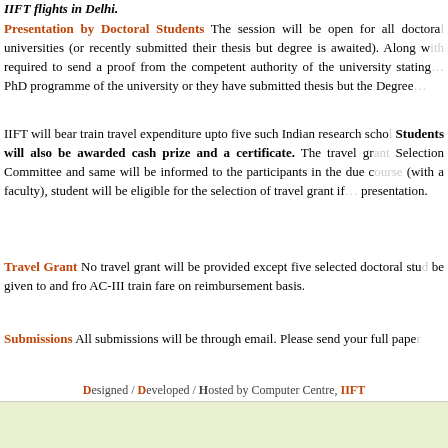IIFT flights in Delhi.
Presentation by Doctoral Students The session will be open for all doctoral students enrolled in PhD programme of Indian universities (or recently submitted their thesis but degree is awaited). Along with registration, they will be required to send a proof from the competent authority of the university stating that they are enrolled in the PhD programme of the university or they have submitted thesis but the Degree is awaited.
IIFT will bear train travel expenditure upto five such Indian research scholars for attending the conference. Students will also be awarded cash prize and a certificate. The travel grant will be decided by a Selection Committee and same will be informed to the participants in the due course. In case of co-authorship (with a faculty), student will be eligible for the selection of travel grant if she/he is the sole presenter of the presentation.
Travel Grant No travel grant will be provided except five selected doctoral students mentioned above who will be given to and fro AC-III train fare on reimbursement basis.
Submissions All submissions will be through email. Please send your full paper
Designed / Developed / Hosted by Computer Centre, IIFT